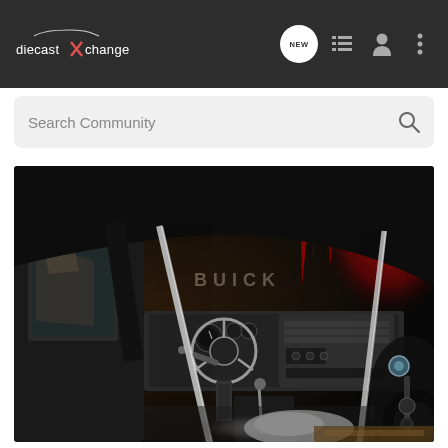diecastXchange navigation bar with logo, NEW button, list icon, user icon, and menu icon
Search Community
[Figure (photo): Close-up interior view of a diecast model car (Buick), showing the dashboard, steering wheel, center console, seatbelts, and chrome details. Background shows red neon-style lighting effects.]